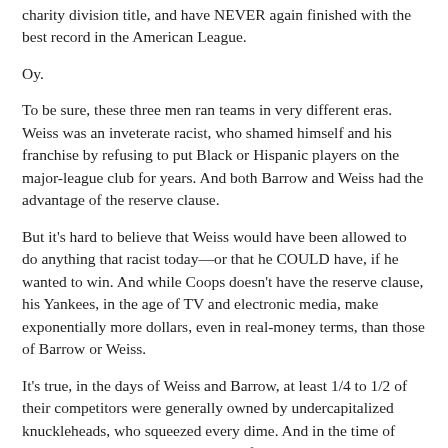charity division title, and have NEVER again finished with the best record in the American League.
Oy.
To be sure, these three men ran teams in very different eras. Weiss was an inveterate racist, who shamed himself and his franchise by refusing to put Black or Hispanic players on the major-league club for years. And both Barrow and Weiss had the advantage of the reserve clause.
But it's hard to believe that Weiss would have been allowed to do anything that racist today—or that he COULD have, if he wanted to win. And while Coops doesn't have the reserve clause, his Yankees, in the age of TV and electronic media, make exponentially more dollars, even in real-money terms, than those of Barrow or Weiss.
It's true, in the days of Weiss and Barrow, at least 1/4 to 1/2 of their competitors were generally owned by undercapitalized knuckleheads, who squeezed every dime. And in the time of Brian Cashman...at least 1/4 to 1/2 of his competitors have been owned by undercapitalized knuckleheads, who squeezed every dime.